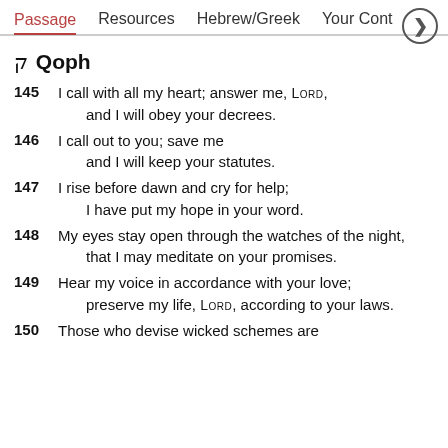Passage  Resources  Hebrew/Greek  Your Cont >
ק Qoph
145 I call with all my heart; answer me, LORD,
    and I will obey your decrees.
146 I call out to you; save me
    and I will keep your statutes.
147 I rise before dawn and cry for help;
    I have put my hope in your word.
148 My eyes stay open through the watches of the night,
    that I may meditate on your promises.
149 Hear my voice in accordance with your love;
    preserve my life, LORD, according to your laws.
150 Those who devise wicked schemes are